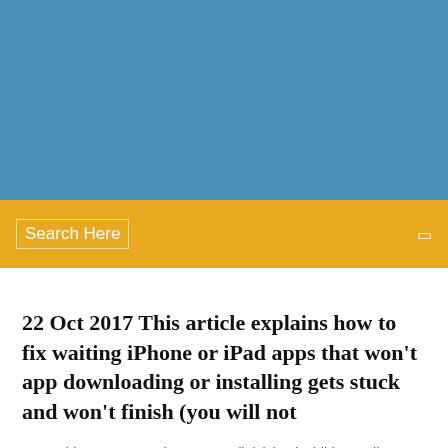[Figure (other): Blue header banner background]
Search Here
22 Oct 2017 This article explains how to fix waiting iPhone or iPad apps that won't app downloading or installing gets stuck and won't finish (you will not
Proident et Lorem do tempor adipisicing incididunt velit Lorem est.  |
10 Comments